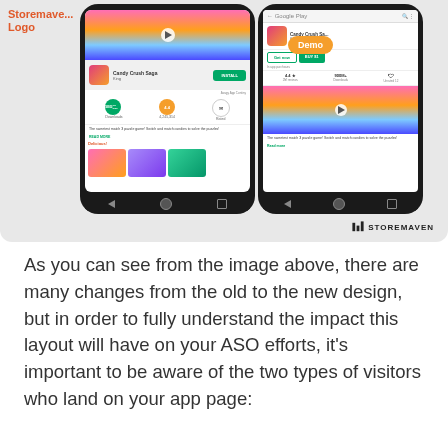[Figure (screenshot): Two smartphone screenshots showing Candy Crush Saga app pages on Google Play Store — the left phone shows the old design layout and the right phone shows the new design layout, with a 'Demo' badge on the right phone. Storemaven logo visible. Storemaven branding at bottom right of the image frame.]
As you can see from the image above, there are many changes from the old to the new design, but in order to fully understand the impact this layout will have on your ASO efforts, it's important to be aware of the two types of visitors who land on your app page: